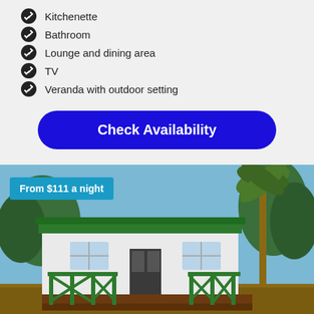Kitchenette
Bathroom
Lounge and dining area
TV
Veranda with outdoor setting
Check Availability
[Figure (photo): Exterior photo of a cabin/chalet with green veranda railings, white walls, green roof, surrounded by trees. Overlaid with a teal badge reading 'From $111 a night'.]
From $111 a night